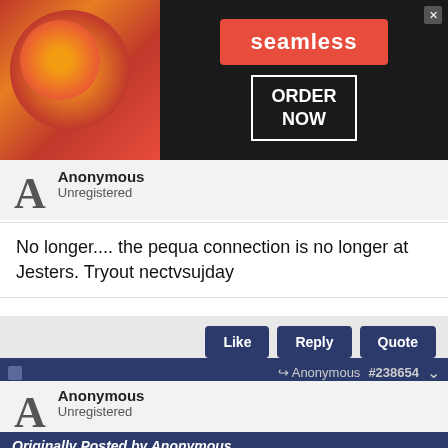[Figure (screenshot): Seamless food delivery advertisement banner with pizza image, seamless logo, and ORDER NOW button]
Anonymous
Unregistered
No longer.... the pequa connection is no longer at Jesters. Tryout nectvsujday
Like  Reply  Quote
Anonymous  #238654
Anonymous
Unregistered
Originally Posted by Anonymous
[Figure (screenshot): Dickies workwear advertisement with leather furniture image, title Dickies Official Site Workwear and Apparel, description and www.dickies.com URL]